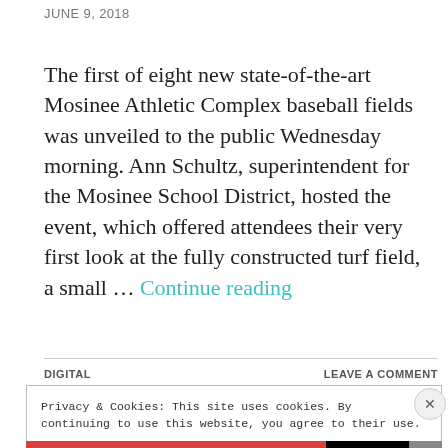JUNE 9, 2018
The first of eight new state-of-the-art Mosinee Athletic Complex baseball fields was unveiled to the public Wednesday morning. Ann Schultz, superintendent for the Mosinee School District, hosted the event, which offered attendees their very first look at the fully constructed turf field, a small … Continue reading
DIGITAL | LEAVE A COMMENT
Privacy & Cookies: This site uses cookies. By continuing to use this website, you agree to their use.
To find out more, including how to control cookies, see here: Cookie Policy
Close and accept